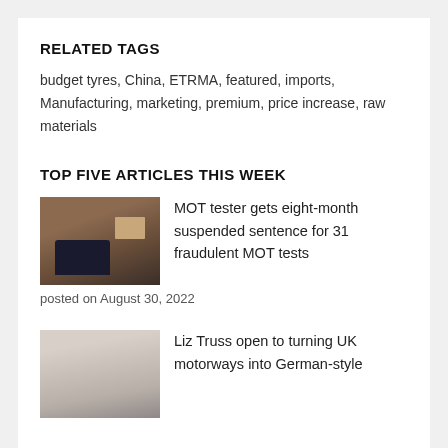RELATED TAGS
budget tyres, China, ETRMA, featured, imports, Manufacturing, marketing, premium, price increase, raw materials
TOP FIVE ARTICLES THIS WEEK
[Figure (photo): Photo of a car in a garage/MOT bay with reddish-brown interior walls and equipment]
MOT tester gets eight-month suspended sentence for 31 fraudulent MOT tests
posted on August 30, 2022
[Figure (photo): Photo of Liz Truss at a podium/microphone, light background]
Liz Truss open to turning UK motorways into German-style